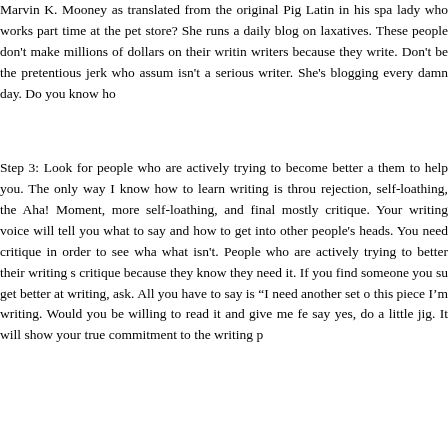Marvin K. Mooney as translated from the original Pig Latin in his spa lady who works part time at the pet store? She runs a daily blog on laxatives. These people don't make millions of dollars on their writin writers because they write. Don't be the pretentious jerk who assum isn't a serious writer. She's blogging every damn day. Do you know ho
Step 3: Look for people who are actively trying to become better a them to help you. The only way I know how to learn writing is throu rejection, self-loathing, the Aha! Moment, more self-loathing, and final mostly critique. Your writing voice will tell you what to say and how to get into other people's heads. You need critique in order to see wha what isn't. People who are actively trying to better their writing s critique because they know they need it. If you find someone you su get better at writing, ask. All you have to say is “I need another set o this piece I’m writing. Would you be willing to read it and give me fe say yes, do a little jig. It will show your true commitment to the writing p
Step 4: Learn to take (constructive) criticism well. If you've found peop to listen to what you have to say, and then give you their opinion on y world a favor and don’t be a jackass. Don’t defend your work to the will stop talking to you. Don’t tell them they’re wrong. It’s an opinion, th wrong. Don’t vindictively tear their writing apart because you’re mad.